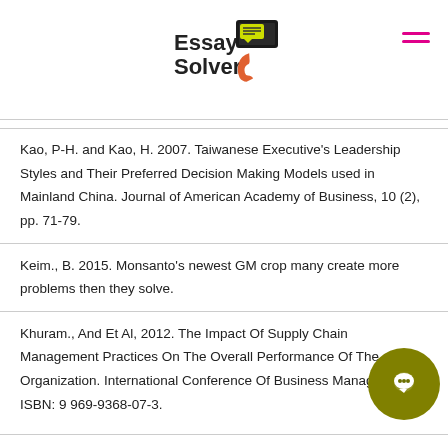Essay Solver
Kao, P-H. and Kao, H. 2007. Taiwanese Executive's Leadership Styles and Their Preferred Decision Making Models used in Mainland China. Journal of American Academy of Business, 10 (2), pp. 71-79.
Keim., B. 2015. Monsanto's newest GM crop many create more problems then they solve.
Khuram., And Et Al, 2012. The Impact Of Supply Chain Management Practices On The Overall Performance Of The Organization. International Conference Of Business Management. ISBN: 9 969-9368-07-3.